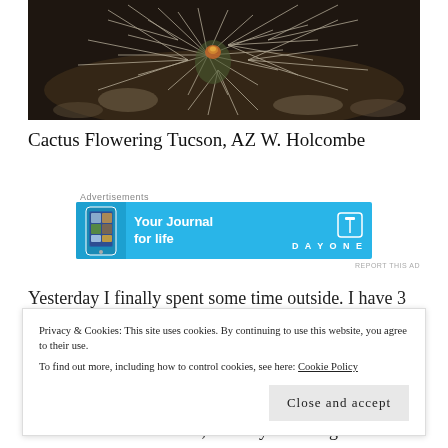[Figure (photo): Close-up photograph of a cactus with spines and a small flowering bud, set against a dark background of dried vegetation.]
Cactus Flowering Tucson, AZ W. Holcombe
Advertisements
[Figure (infographic): Advertisement banner for DayOne journal app. Blue background with phone mockup on left. Text: 'Your Journal for life' and DayOne logo on right.]
REPORT THIS AD
Yesterday I finally spent some time outside. I have 3
Privacy & Cookies: This site uses cookies. By continuing to use this website, you agree to their use.
To find out more, including how to control cookies, see here: Cookie Policy
Close and accept
exercises. It was so nice, I finally felt things said I